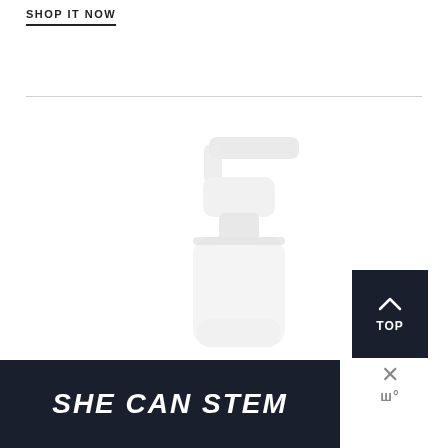SHOP IT NOW
[Figure (photo): White foaming soap pump dispenser bottle with translucent pump top, photographed against a white background. Only the upper portion of the bottle is visible.]
[Figure (other): Black square button with upward-pointing chevron arrow and text 'TOP' in white, indicating a back-to-top navigation element.]
[Figure (other): Dark navy banner with bold white italic text reading 'SHE CAN STEM'.]
[Figure (logo): Close button with X mark and stylized W logo in gray, representing a widget close control.]